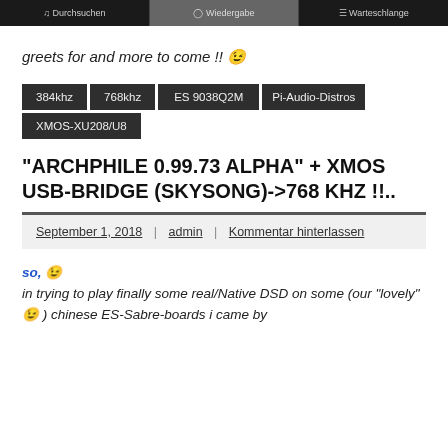Durchsuchen | Wiedergabe | Warteschlange
greets for and more to come !! 😉
384khz
768khz
ES 9038Q2M
Pi-Audio-Distros
XMOS-XU208/U8
"ARCHPHILE 0.99.73 ALPHA" + XMOS USB-BRIDGE (SKYSONG)->768 KHZ !!..
September 1, 2018 | admin | Kommentar hinterlassen
so, 😉
in trying to play finally some real/Native DSD on some (our "lovely" 😉 ) chinese ES-Sabre-boards i came by